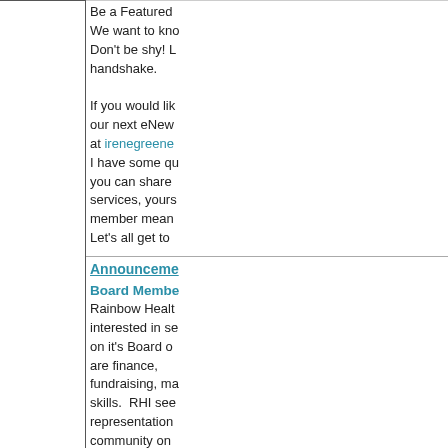Be a Featured... We want to kno... Don't be shy! L... handshake. If you would lik... our next eNew... at irenegreene... I have some qu... you can share... services, yours... member mean... Let's all get to...
Announcements
Board Members
Rainbow Healt... interested in se... on it's Board o... are finance, fundraising, ma... skills. RHI see... representation... community on... out the RHI we... and contact Ka... (katelehmann@...
ALL GENDER